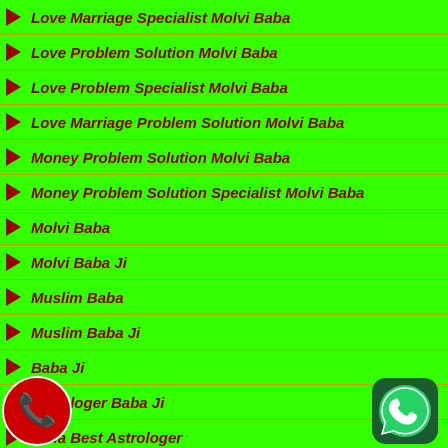Love Marriage Specialist Molvi Baba
Love Problem Solution Molvi Baba
Love Problem Specialist Molvi Baba
Love Marriage Problem Solution Molvi Baba
Money Problem Solution Molvi Baba
Money Problem Solution Specialist Molvi Baba
Molvi Baba
Molvi Baba Ji
Muslim Baba
Muslim Baba Ji
Baba Ji
Astrologer Baba Ji
India Best Astrologer
Love Problem ka Solutions
Get Love back Baba
Vashikaran Problem Solution Molvi Ji
aran Specialist Molvi Ji
ashikaran Specialist Molvi